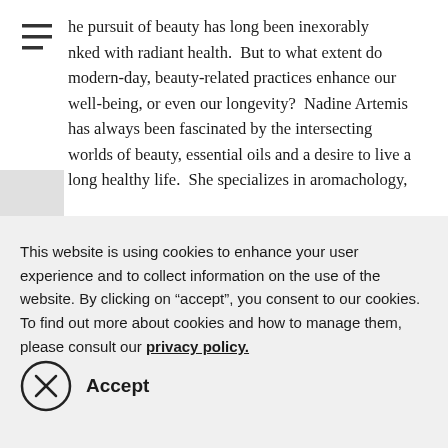The pursuit of beauty has long been inexorably linked with radiant health.  But to what extent do modern-day, beauty-related practices enhance our well-being, or even our longevity?  Nadine Artemis has always been fascinated by the intersecting worlds of beauty, essential oils and a desire to live a long healthy life.  She specializes in aromachology,
This website is using cookies to enhance your user experience and to collect information on the use of the website. By clicking on “accept”, you consent to our cookies. To find out more about cookies and how to manage them, please consult our privacy policy.
Accept